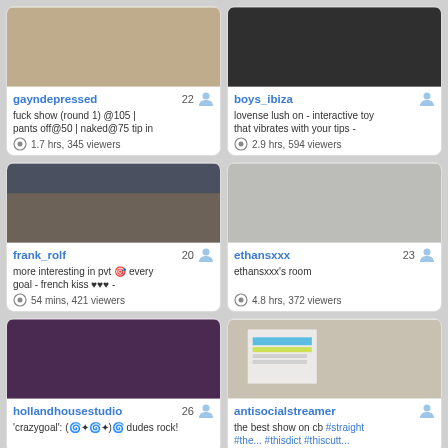[Figure (screenshot): Webcam stream thumbnail for gayndepressed]
gayndepressed 22 | fuck show (round 1) @105 | pants off@50 | naked@75 tip in | 1.7 hrs, 345 viewers
[Figure (screenshot): Webcam stream thumbnail for boys_ibiza]
boys_ibiza | lovense lush on - interactive toy that vibrates with your tips - | 2.9 hrs, 594 viewers
[Figure (screenshot): Webcam stream thumbnail for frank_rolf]
frank_rolf 20 | more interesting in pvt 🎯 every goal - french kiss ♥♥♥ - | 54 mins, 421 viewers
[Figure (screenshot): Webcam stream thumbnail for ethansxxx]
ethansxxx 23 | ethansxxx's room | 4.8 hrs, 372 viewers
[Figure (screenshot): Webcam stream thumbnail for hollandhousestudio]
hollandhousestudio 26 | 'crazygoal': (🌀✦🌀✦)🌀 dudes rock!
[Figure (screenshot): Webcam stream thumbnail for antisocialstreamer]
antisocialstreamer | the best show on cb #straight #the... #thisdict #thiscutt...